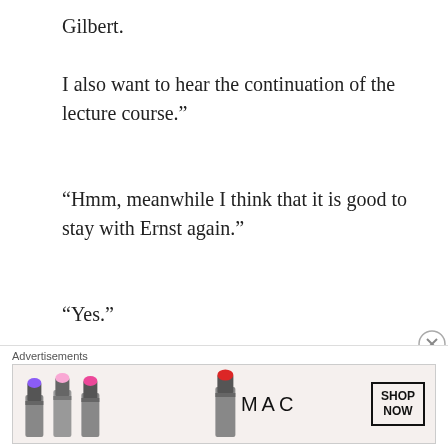Gilbert.
I also want to hear the continuation of the lecture course.”
“Hmm, meanwhile I think that it is good to stay with Ernst again.”
“Yes.”
After the three of us were done planning, what remained was the nightly survey of Palug.
[Figure (other): MAC cosmetics advertisement banner showing lipsticks in purple, pink, and red colors with MAC logo and SHOP NOW button]